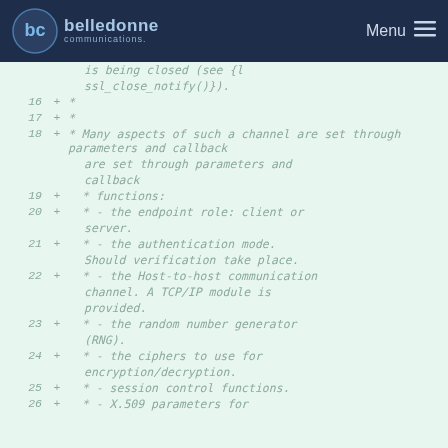belledonne communications — Menu
Code diff view showing lines 16-26 of a C source file with SSL/TLS channel documentation comments